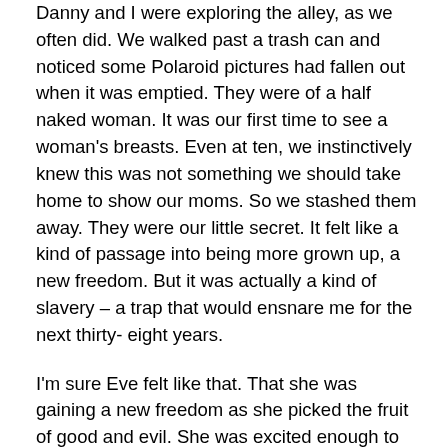Danny and I were exploring the alley, as we often did. We walked past a trash can and noticed some Polaroid pictures had fallen out when it was emptied. They were of a half naked woman. It was our first time to see a woman's breasts. Even at ten, we instinctively knew this was not something we should take home to show our moms. So we stashed them away. They were our little secret. It felt like a kind of passage into being more grown up, a new freedom. But it was actually a kind of slavery – a trap that would ensnare me for the next thirty- eight years.
I'm sure Eve felt like that. That she was gaining a new freedom as she picked the fruit of good and evil. She was excited enough to share it with Adam. But actually it meant slavery and death for them and all their unborn children.
What I received that day in the alley was a duality of heart. I wanted to serve the Lord, to follow him. But I also wanted